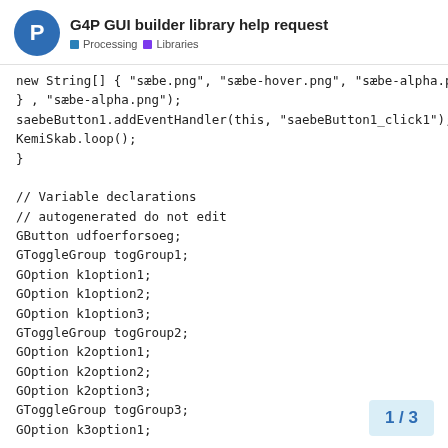G4P GUI builder library help request
Processing · Libraries
new String[] { "sæbe.png", "sæbe-hover.png", "sæbe-alpha.png"
} , "sæbe-alpha.png");
saebeButton1.addEventHandler(this, "saebeButton1_click1");
KemiSkab.loop();
}

// Variable declarations
// autogenerated do not edit
GButton udfoerforsoeg;
GToggleGroup togGroup1;
GOption k1option1;
GOption k1option2;
GOption k1option3;
GToggleGroup togGroup2;
GOption k2option1;
GOption k2option2;
GOption k2option3;
GToggleGroup togGroup3;
GOption k3option1;
1 / 3